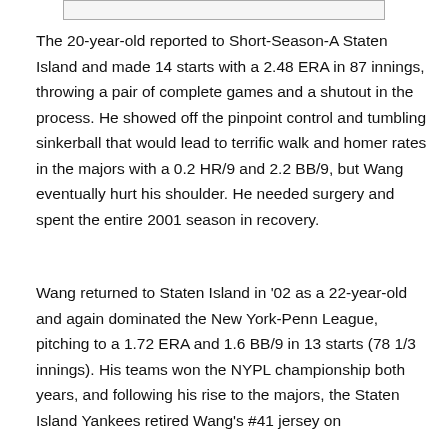[Figure (other): A narrow rectangular box at the top of the page, likely a partial image or header graphic.]
The 20-year-old reported to Short-Season-A Staten Island and made 14 starts with a 2.48 ERA in 87 innings, throwing a pair of complete games and a shutout in the process. He showed off the pinpoint control and tumbling sinkerball that would lead to terrific walk and homer rates in the majors with a 0.2 HR/9 and 2.2 BB/9, but Wang eventually hurt his shoulder. He needed surgery and spent the entire 2001 season in recovery.
Wang returned to Staten Island in '02 as a 22-year-old and again dominated the New York-Penn League, pitching to a 1.72 ERA and 1.6 BB/9 in 13 starts (78 1/3 innings). His teams won the NYPL championship both years, and following his rise to the majors, the Staten Island Yankees retired Wang's #41 jersey on